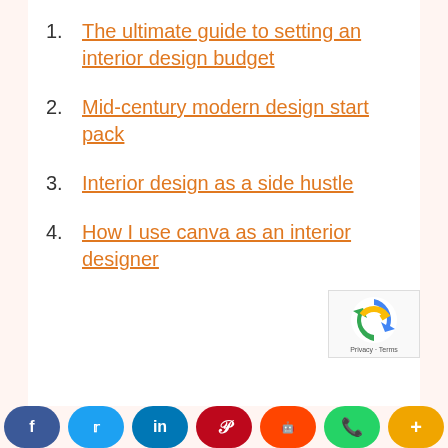1. The ultimate guide to setting an interior design budget
2. Mid-century modern design start pack
3. Interior design as a side hustle
4. How I use canva as an interior designer
f  in  p  reddit  WhatsApp  More